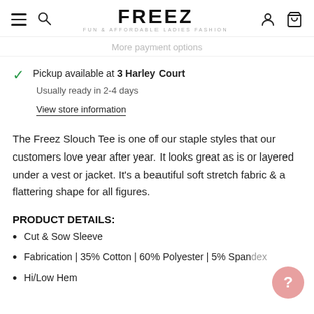FREEZ — FUN & AFFORDABLE LADIES FASHION
More payment options
Pickup available at 3 Harley Court
Usually ready in 2-4 days
View store information
The Freez Slouch Tee is one of our staple styles that our customers love year after year. It looks great as is or layered under a vest or jacket. It's a beautiful soft stretch fabric & a flattering shape for all figures.
PRODUCT DETAILS:
Cut & Sow Sleeve
Fabrication | 35% Cotton | 60% Polyester | 5% Spandex
Hi/Low Hem